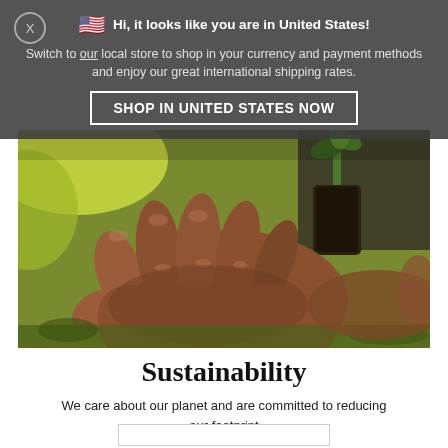🇺🇸 Hi, it looks like you are in United States!
Switch to our local store to shop in your currency and payment methods and enjoy our great international shipping rates.
SHOP IN UNITED STATES NOW
[Figure (photo): Close-up photograph of a person's hands holding a small plant seedling in a soil plug, with green foliage in the background.]
Sustainability
We care about our planet and are committed to reducing our footprint